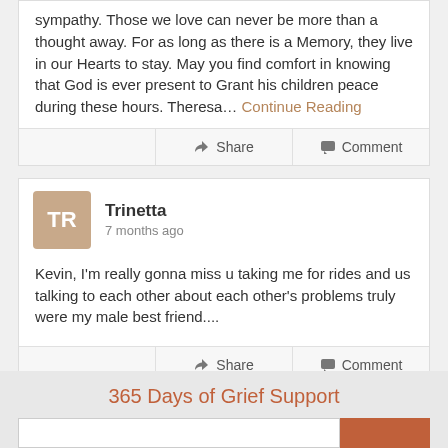sympathy. Those we love can never be more than a thought away. For as long as there is a Memory, they live in our Hearts to stay. May you find comfort in knowing that God is ever present to Grant his children peace during these hours. Theresa... Continue Reading
Share | Comment
Trinetta
7 months ago
Kevin, I'm really gonna miss u taking me for rides and us talking to each other about each other's problems truly were my male best friend....
Share | Comment
365 Days of Grief Support